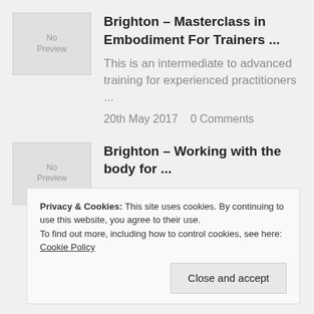Brighton – Masterclass in Embodiment For Trainers ...
This is an intermediate to advanced training for experienced practitioners ...
20th May 2017    0 Comments
Brighton – Working with the body for ...
This is an experiential training for those wishing to develop
Privacy & Cookies: This site uses cookies. By continuing to use this website, you agree to their use.
To find out more, including how to control cookies, see here: Cookie Policy
Close and accept